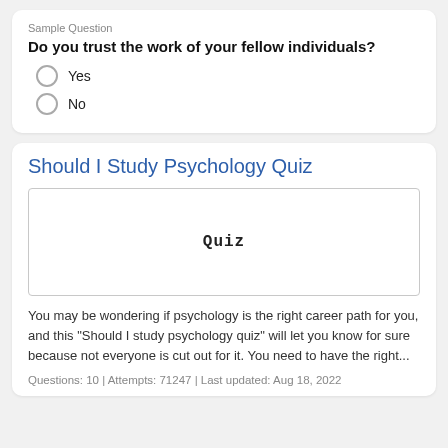Sample Question
Do you trust the work of your fellow individuals?
Yes
No
Should I Study Psychology Quiz
[Figure (illustration): Quiz image placeholder with the word 'Quiz' in monospace font centered in a bordered box]
You may be wondering if psychology is the right career path for you, and this "Should I study psychology quiz" will let you know for sure because not everyone is cut out for it. You need to have the right...
Questions: 10  |  Attempts: 71247  |  Last updated: Aug 18, 2022